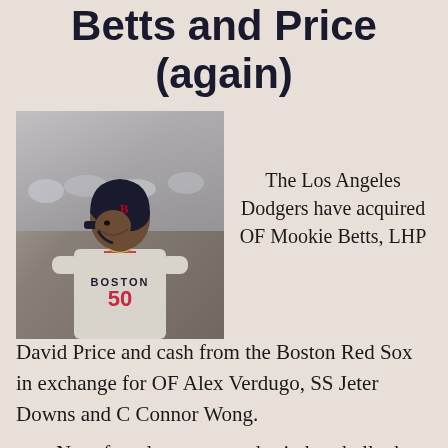Betts and Price (again)
[Figure (photo): Baseball player wearing a Boston Red Sox gray away jersey and batting helmet, looking to the side]
The Los Angeles Dodgers have acquired OF Mookie Betts, LHP David Price and cash from the Boston Red Sox in exchange for OF Alex Verdugo, SS Jeter Downs and C Connor Wong.
Not often do we get trades in baseball where everyone will instantly agree that it will change